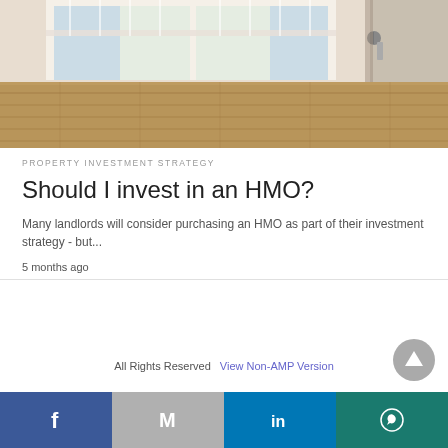[Figure (photo): Interior room photo showing empty room with hardwood floor, open balcony/French doors letting in light, and a door with handle on the right side]
PROPERTY INVESTMENT STRATEGY
Should I invest in an HMO?
Many landlords will consider purchasing an HMO as part of their investment strategy - but...
5 months ago
All Rights Reserved  View Non-AMP Version